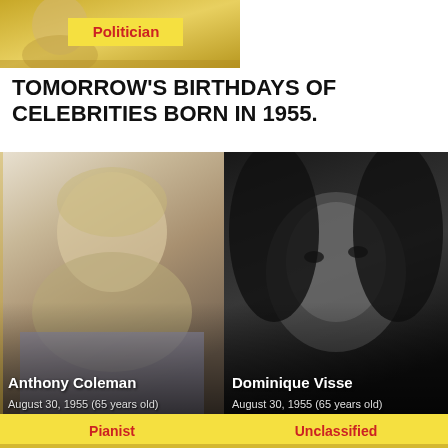[Figure (photo): Yellow banner with Politician label at top of page]
TOMORROW'S BIRTHDAYS OF CELEBRITIES BORN IN 1955.
[Figure (photo): Photo of Anthony Coleman, pianist, born August 30, 1955 (65 years old), with yellow Pianist label bar]
[Figure (photo): Black and white photo of Dominique Visse, born August 30, 1955 (65 years old), with yellow Unclassified label bar]